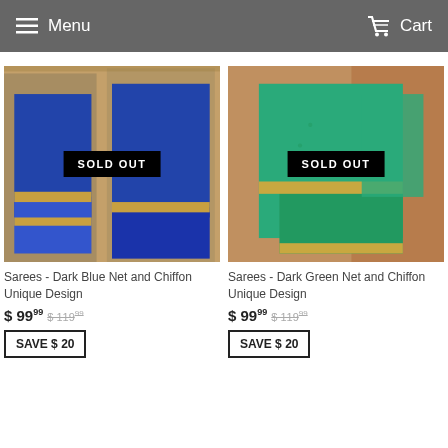Menu  Cart
[Figure (photo): Woman wearing a dark blue net and chiffon saree with gold border, shown with SOLD OUT badge overlay]
Sarees - Dark Blue Net and Chiffon Unique Design
$ 99.99  $ 119.99
SAVE $ 20
[Figure (photo): Woman wearing a dark green net and chiffon saree with gold border, shown with SOLD OUT badge overlay]
Sarees - Dark Green Net and Chiffon Unique Design
$ 99.99  $ 119.99
SAVE $ 20